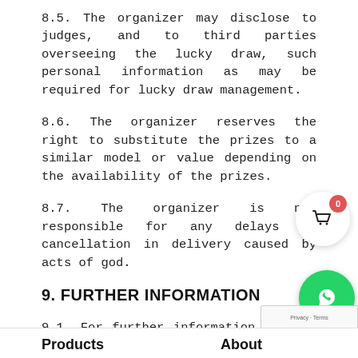8.5. The organizer may disclose to judges, and to third parties overseeing the lucky draw, such personal information as may be required for lucky draw management.
8.6. The organizer reserves the right to substitute the prizes to a similar model or value depending on the availability of the prizes.
8.7. The organizer is not responsible for any delays or cancellation in delivery caused by acts of god.
9. FURTHER INFORMATION
9.1. For further information, please contact us at support@sleepsonno.com.
Products    About